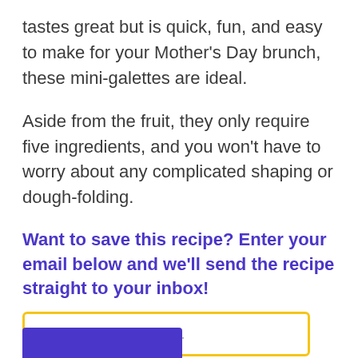tastes great but is quick, fun, and easy to make for your Mother’s Day brunch, these mini-galettes are ideal.
Aside from the fruit, they only require five ingredients, and you won’t have to worry about any complicated shaping or dough-folding.
Want to save this recipe? Enter your email below and we’ll send the recipe straight to your inbox!